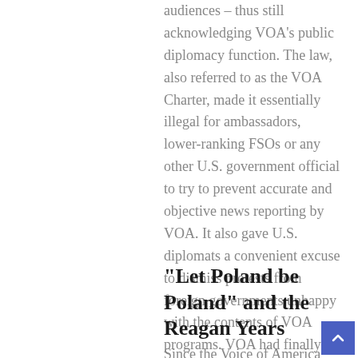audiences – thus still acknowledging VOA's public diplomacy function. The law, also referred to as the VOA Charter, made it essentially illegal for ambassadors, lower-ranking FSOs or any other U.S. government official to try to prevent accurate and objective news reporting by VOA. It also gave U.S. diplomats a convenient excuse to dismiss protests from foreign governments unhappy with the contents of VOA programs. VOA had finally moved closer to the independent status previously enjoyed only by the surrogate broadcasters while still retaining its American and semi-official brand.
“Let Poland be Poland” and the Reagan Years
Since the Voice of America was still part of